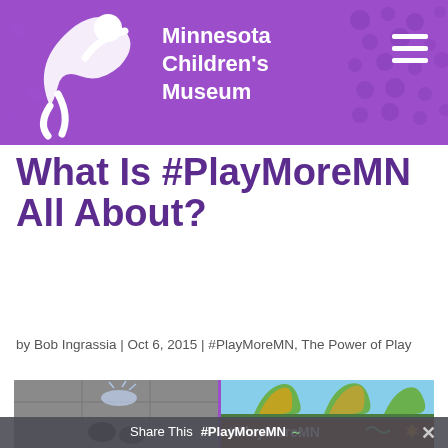Minnesota Children's Museum
What Is #PlayMoreMN All About?
by Bob Ingrassia | Oct 6, 2015 | #PlayMoreMN, The Power of Play
[Figure (photo): Two-panel photo collage: left panel shows person's feet on wet pavement/fountain, right panel shows colorful playground sculpture hands against sky with #PlayMoreMN branding below]
Share This | #PlayMoreMN